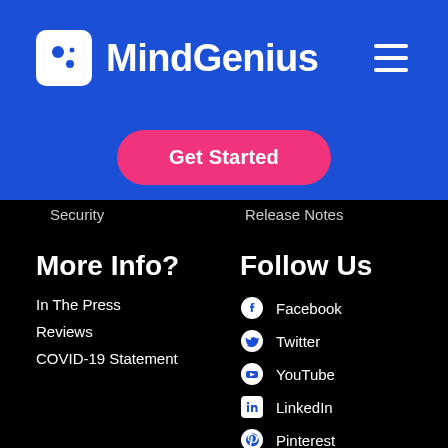MindGenius
[Figure (logo): MindGenius logo with white icon on blue background and white wordmark text]
Get Started
Security
Release Notes
More Info?
In The Press
Reviews
COVID-19 Statement
Follow Us
Facebook
Twitter
YouTube
LinkedIn
Pinterest